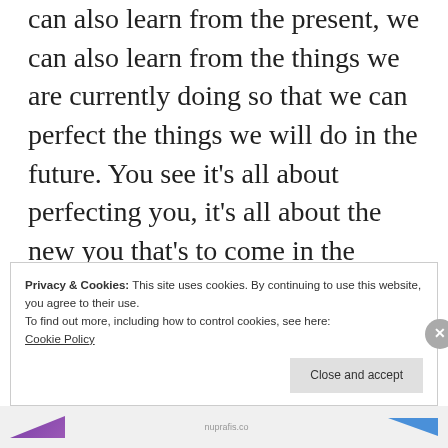can also learn from the present, we can also learn from the things we are currently doing so that we can perfect the things we will do in the future. You see it’s all about perfecting you, it’s all about the new you that’s to come in the future. So I say this, try to connect with different people, because you never know if you might have something in common with them.
Privacy & Cookies: This site uses cookies. By continuing to use this website, you agree to their use.
To find out more, including how to control cookies, see here: Cookie Policy